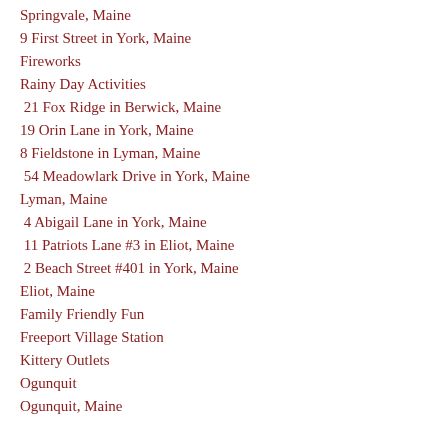Springvale, Maine
9 First Street in York, Maine
Fireworks
Rainy Day Activities
21 Fox Ridge in Berwick, Maine
19 Orin Lane in York, Maine
8 Fieldstone in Lyman, Maine
54 Meadowlark Drive in York, Maine
Lyman, Maine
4 Abigail Lane in York, Maine
11 Patriots Lane #3 in Eliot, Maine
2 Beach Street #401 in York, Maine
Eliot, Maine
Family Friendly Fun
Freeport Village Station
Kittery Outlets
Ogunquit
Ogunquit, Maine